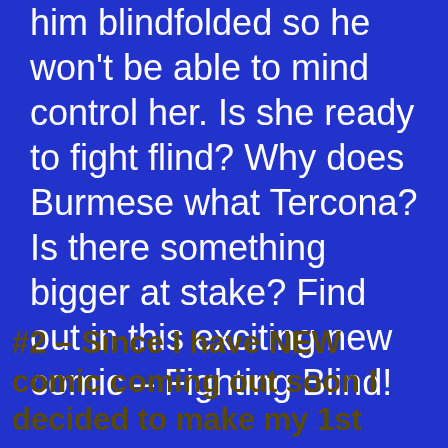him blindfolded so he won't be able to mind control her. Is she ready to fight flind? Why does Burmese what Tercona? Is there something bigger at stake? Find out in this exciting new comic – Fighting Blind!
#2 – Since I have NEW comic coming out soon I decided to make my 1st